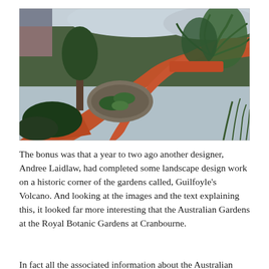[Figure (photo): A garden path made of reddish-brown crushed gravel/dirt winds through Australian native plantings including cycads, palm-like plants, ground covers, and ornamental grasses. The landscape features rocky mulched beds with lush green plants. Buildings are partially visible in the upper left background. The sky is overcast.]
The bonus was that a year to two ago another designer, Andree Laidlaw, had completed some landscape design work on a historic corner of the gardens called, Guilfoyle's Volcano. And looking at the images and the text explaining this, it looked far more interesting that the Australian Gardens at the Royal Botanic Gardens at Cranbourne.
In fact all the associated information about the Australian